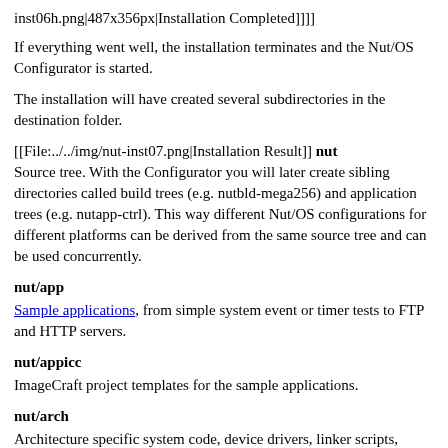inst06h.png|487x356px|Installation Completed]]]]
If everything went well, the installation terminates and the Nut/OS Configurator is started.
The installation will have created several subdirectories in the destination folder.
[[File:../../img/nut-inst07.png|Installation Result]] nut Source tree. With the Configurator you will later create sibling directories called build trees (e.g. nutbld-mega256) and application trees (e.g. nutapp-ctrl). This way different Nut/OS configurations for different platforms can be derived from the same source tree and can be used concurrently.
nut/app
Sample applications, from simple system event or timer tests to FTP and HTTP servers.
nut/appicc
ImageCraft project templates for the sample applications.
nut/arch
Architecture specific system code, device drivers, linker scripts, runtime initialization etc.